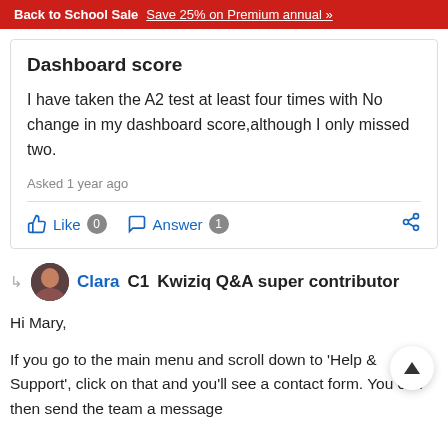Back to School Sale   Save 25% on Premium annual »
Dashboard score
I have taken the A2 test at least four times with No change in my dashboard score,although I only missed two.
Asked 1 year ago
Like 0   Answer 1
Clara  C1   Kwiziq Q&A super contributor
Hi Mary,
If you go to the main menu and scroll down to 'Help & Support', click on that and you'll see a contact form. You can then send the team a message